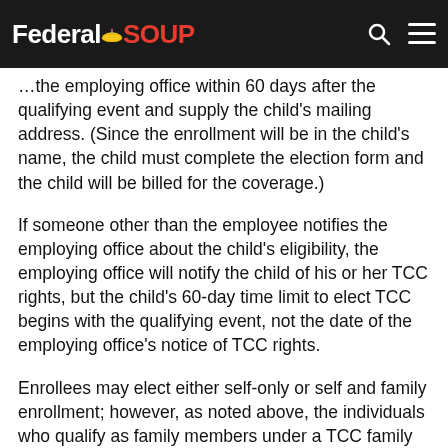FederalSOUP
...the employing office within 60 days after the qualifying event and supply the child's mailing address. (Since the enrollment will be in the child's name, the child must complete the election form and the child will be billed for the coverage.)
If someone other than the employee notifies the employing office about the child's eligibility, the employing office will notify the child of his or her TCC rights, but the child's 60-day time limit to elect TCC begins with the qualifying event, not the date of the employing office's notice of TCC rights.
Enrollees may elect either self-only or self and family enrollment; however, as noted above, the individuals who qualify as family members under a TCC family enrollment vary depending on whether the enrollee is a former employee or children of a former employee if...